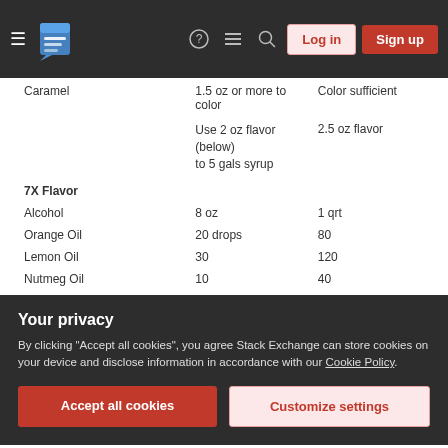Navigation bar with hamburger menu, logo, help, chat, search icons, Log in and Sign up buttons
| Ingredient | Amount (small) | Amount (large) |
| --- | --- | --- |
| Caramel | 1.5 oz or more to color | Color sufficient |
|  | Use 2 oz flavor (below) to 5 gals syrup | 2.5 oz flavor |
| 7X Flavor |  |  |
| Alcohol | 8 oz | 1 qrt |
| Orange Oil | 20 drops | 80 |
| Lemon Oil | 30 | 120 |
| Nutmeg Oil | 10 | 40 |
| Corrander Oil | 5 | 20 |
| Neroli Oil | 10 | 40 |
| Cinnamon Oil | 10 | 40 |
(The Pemberton formula for 7X is the same as the beat, just four times as much.)
Your privacy
By clicking "Accept all cookies", you agree Stack Exchange can store cookies on your device and disclose information in accordance with our Cookie Policy.
Coke. Of course it has changed over the years; it's